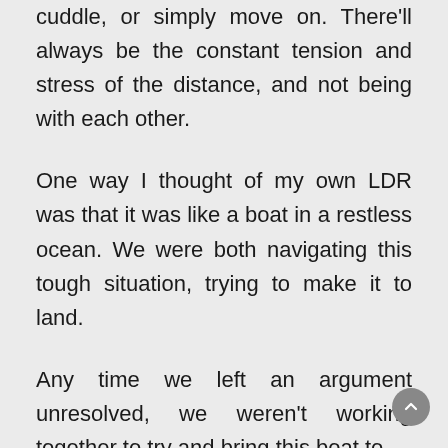cuddle, or simply move on. There'll always be the constant tension and stress of the distance, and not being with each other.
One way I thought of my own LDR was that it was like a boat in a restless ocean. We were both navigating this tough situation, trying to make it to land.
Any time we left an argument unresolved, we weren't working together to try and bring this boat to